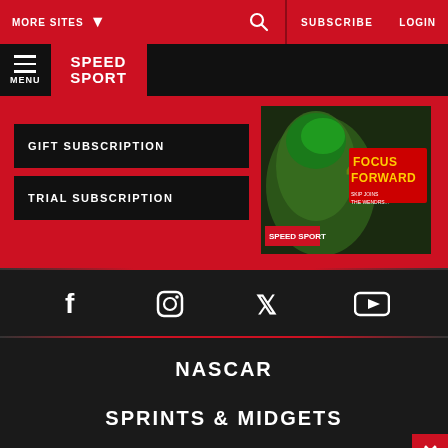MORE SITES  ▼   🔍   SUBSCRIBE   LOGIN
[Figure (logo): Speed Sport logo — red background with SPEED SPORT text in white]
GIFT SUBSCRIPTION
TRIAL SUBSCRIPTION
[Figure (illustration): Speed Sport magazine cover showing green and red racing imagery with text FOCUS FORWARD]
[Figure (infographic): Social media icons row: Facebook, Instagram, Twitter/X, YouTube]
NASCAR
SPRINTS & MIDGETS
DIRT LATE MODELS